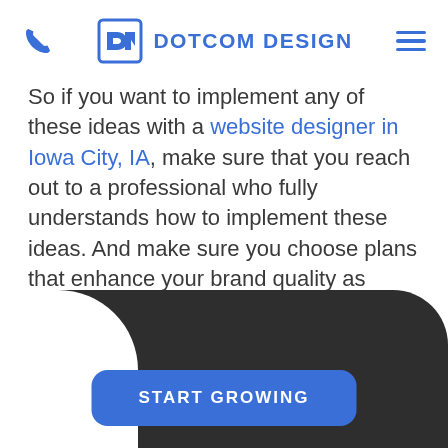DOTCOM DESIGN
So if you want to implement any of these ideas with a website designer in Iowa City, IA, make sure that you reach out to a professional who fully understands how to implement these ideas. And make sure you choose plans that enhance your brand quality as much as possible.
[Figure (other): Dark rounded bottom section with a blue 'START GROWING' button]
START GROWING